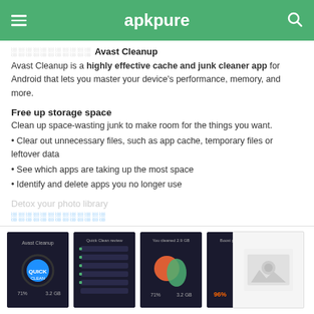apkpure
░░░░░░░░░░░ Avast Cleanup
Avast Cleanup is a highly effective cache and junk cleaner app for Android that lets you master your device's performance, memory, and more.
Free up storage space
Clean up space-wasting junk to make room for the things you want.
• Clear out unnecessary files, such as app cache, temporary files or leftover data
• See which apps are taking up the most space
• Identify and delete apps you no longer use
Detox your photo library
░░░░░░░░░░░░░
[Figure (screenshot): Four screenshots of the Avast Cleanup app UI on dark-themed Android screens, plus one placeholder image]
[Figure (photo): Placeholder image with grey camera icon]